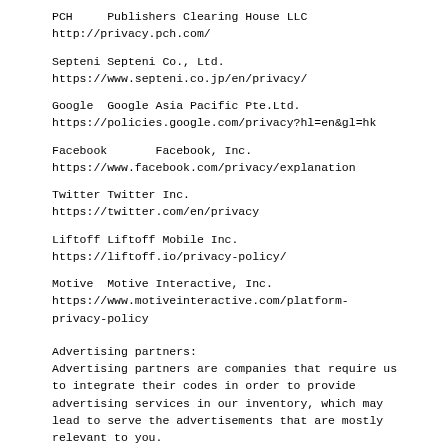PCH     Publishers Clearing House LLC
http://privacy.pch.com/
Septeni Septeni Co., Ltd.
https://www.septeni.co.jp/en/privacy/
Google  Google Asia Pacific Pte.Ltd.
https://policies.google.com/privacy?hl=en&gl=hk
Facebook       Facebook, Inc.
https://www.facebook.com/privacy/explanation
Twitter Twitter Inc.
https://twitter.com/en/privacy
Liftoff Liftoff Mobile Inc.
https://liftoff.io/privacy-policy/
Motive  Motive Interactive, Inc.
https://www.motiveinteractive.com/platform-privacy-policy
Advertising partners:
Advertising partners are companies that require us to integrate their codes in order to provide advertising services in our inventory, which may lead to serve the advertisements that are mostly relevant to you.
Our Advertising partners include: